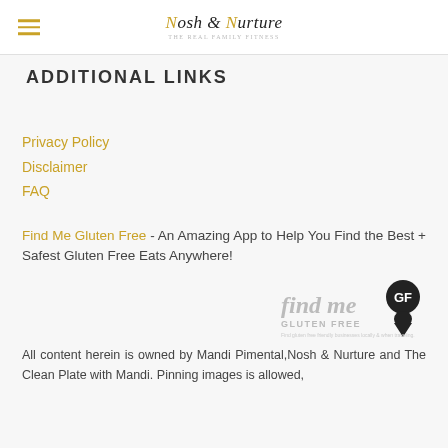Nosh & Nurture [logo]
ADDITIONAL LINKS
Privacy Policy
Disclaimer
FAQ
Find Me Gluten Free - An Amazing App to Help You Find the Best + Safest Gluten Free Eats Anywhere!
[Figure (logo): Find Me Gluten Free logo with location pin icon]
All content herein is owned by Mandi Pimental,Nosh & Nurture and The Clean Plate with Mandi. Pinning images is allowed,